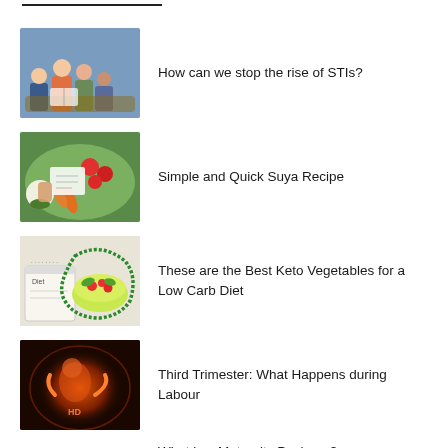How can we stop the rise of STIs?
Simple and Quick Suya Recipe
These are the Best Keto Vegetables for a Low Carb Diet
Third Trimester: What Happens during Labour
What is a Maternity Package?